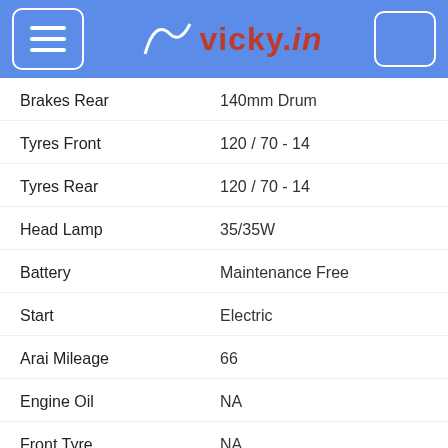vicky.in
| Specification | Value |
| --- | --- |
| Brakes Rear | 140mm Drum |
| Tyres Front | 120 / 70 - 14 |
| Tyres Rear | 120 / 70 - 14 |
| Head Lamp | 35/35W |
| Battery | Maintenance Free |
| Start | Electric |
| Arai Mileage | 66 |
| Engine Oil | NA |
| Front Tyre | NA |